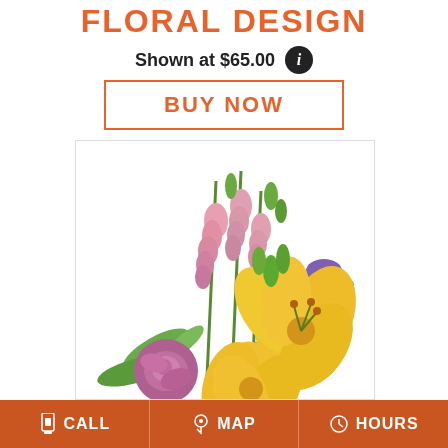FLORAL DESIGN
Shown at $65.00
BUY NOW
[Figure (photo): A floral arrangement featuring yellow lilies, pink snapdragons, purple roses, orange hypericum berries, and purple statice on a white background.]
CALL   MAP   HOURS